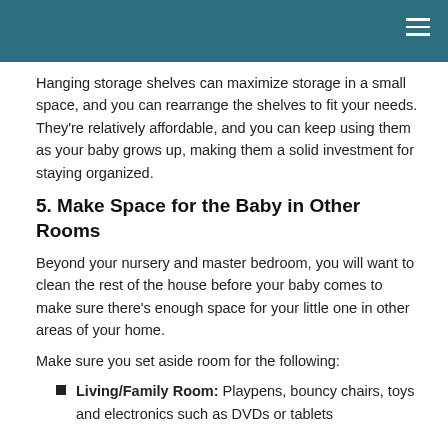Hanging storage shelves can maximize storage in a small space, and you can rearrange the shelves to fit your needs. They're relatively affordable, and you can keep using them as your baby grows up, making them a solid investment for staying organized.
5. Make Space for the Baby in Other Rooms
Beyond your nursery and master bedroom, you will want to clean the rest of the house before your baby comes to make sure there's enough space for your little one in other areas of your home.
Make sure you set aside room for the following:
Living/Family Room: Playpens, bouncy chairs, toys and electronics such as DVDs or tablets